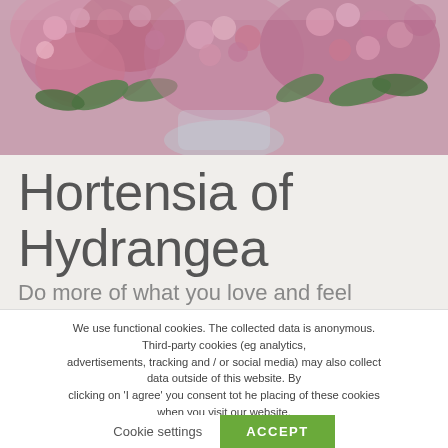[Figure (photo): Close-up photograph of pink and mauve hydrangea flowers with green leaves in a glass vase]
Hortensia of Hydrangea
Do more of what you love and feel
We use functional cookies. The collected data is anonymous. Third-party cookies (eg analytics, advertisements, tracking and / or social media) may also collect data outside of this website. By clicking on 'I agree' you consent tot he placing of these cookies when you visit our website.
Cookie settings
ACCEPT